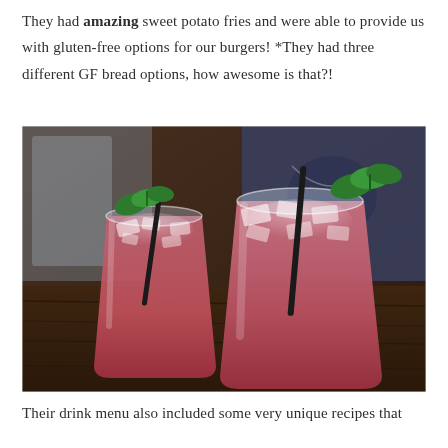They had amazing sweet potato fries and were able to provide us with gluten-free options for our burgers! *They had three different GF bread options, how awesome is that?!
[Figure (photo): Two glasses of pink/red cocktails with ice, black straws, and fresh mint garnish on a wooden table. A person in a dark shirt is visible in the background.]
Their drink menu also included some very unique recipes that